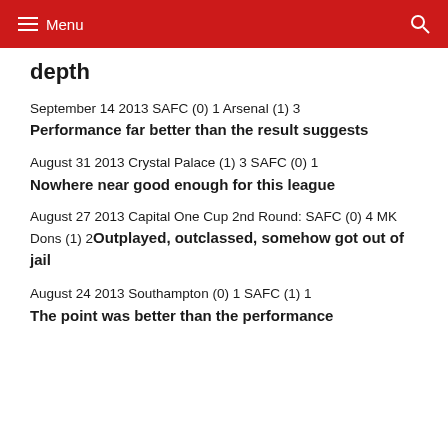Menu
depth
September 14 2013 SAFC (0) 1 Arsenal (1) 3
Performance far better than the result suggests
August 31 2013 Crystal Palace (1) 3 SAFC (0) 1
Nowhere near good enough for this league
August 27 2013 Capital One Cup 2nd Round: SAFC (0) 4 MK Dons (1) 2 Outplayed, outclassed, somehow got out of jail
August 24 2013 Southampton (0) 1 SAFC (1) 1
The point was better than the performance